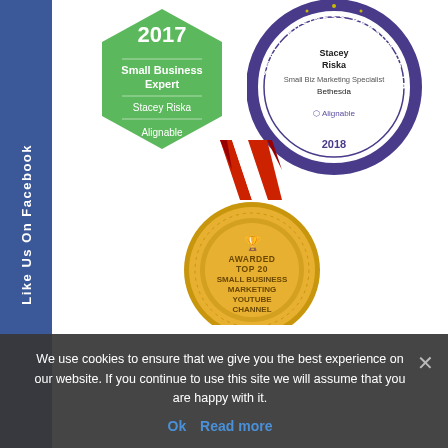[Figure (illustration): Blue sidebar with white vertical text 'Like Us On Facebook']
[Figure (illustration): Green hexagon badge: '2017 Small Business Expert, Stacey Riska, Alignable']
[Figure (illustration): Purple circular seal: 'Small Business Person of the Year 2018, Stacey Riska, Small Biz Marketing Specialist, Bethesda, Alignable']
[Figure (illustration): Gold medal with red ribbon: 'Awarded Top 20 Small Business Marketing YouTube Channel']
We use cookies to ensure that we give you the best experience on our website. If you continue to use this site we will assume that you are happy with it.
Ok   Read more